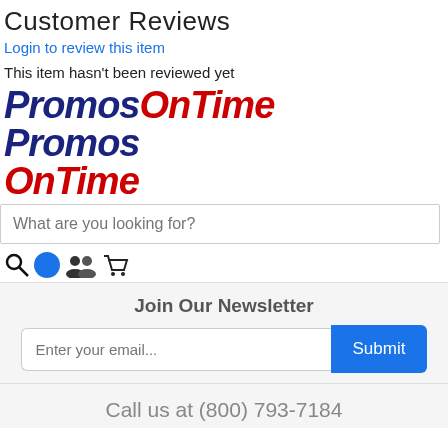Customer Reviews
Login to review this item
This item hasn't been reviewed yet
[Figure (logo): PromosOnTime logo with 'Promos' in dark blue bold italic and 'OnTime' in red bold italic, displayed in two versions: inline and stacked]
What are you looking for?
[Figure (other): Navigation icon bar with search icon, blue circle, people icon, and shopping cart icon]
Join Our Newsletter
Enter your email...
Submit
Call us at (800) 793-7184